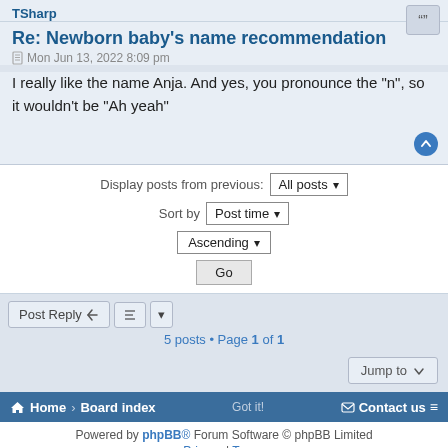TSharp
Re: Newborn baby's name recommendation
Mon Jun 13, 2022 8:09 pm
I really like the name Anja. And yes, you pronounce the "n", so it wouldn't be "Ah yeah"
Display posts from previous: All posts ▾
Sort by Post time ▾
Ascending ▾
Go
5 posts • Page 1 of 1
Jump to
Home · Board index · Contact us
Powered by phpBB® Forum Software © phpBB Limited
Privacy | Terms